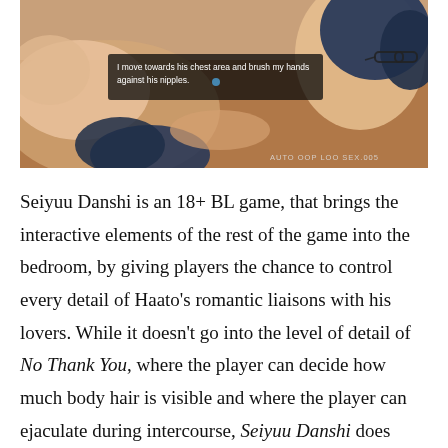[Figure (screenshot): Screenshot from an anime-style BL game showing two male characters in an intimate scene. A dialogue box reads 'I move towards his chest area and brush my hands against his nipples.' UI elements visible at the bottom right.]
Seiyuu Danshi is an 18+ BL game, that brings the interactive elements of the rest of the game into the bedroom, by giving players the chance to control every detail of Haato's romantic liaisons with his lovers. While it doesn't go into the level of detail of No Thank You, where the player can decide how much body hair is visible and where the player can ejaculate during intercourse, Seiyuu Danshi does incorporate some unique details that I'd love to see more of in future BL games. Meyaoi Games introduces Foreplay Mode which is a mechanic I had seen previously in Camp Buddies and I liked the way Seiyuu Danshi handled it better since it was one of the few features in the game that wasn't connected to any stats. You can dress the boys